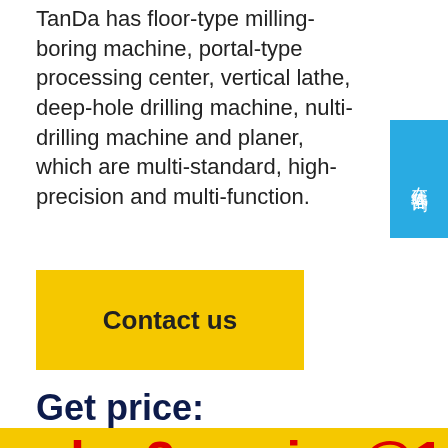TanDa has floor-type milling-boring machine, portal-type processing center, vertical lathe, deep-hole drilling machine, nulti-drilling machine and planer, which are multi-standard, high-precision and multi-function.
[Figure (other): Blue chat button with Chinese characters 在线咨询 (online consultation)]
Contact us
Get price:
sales2service@163.com